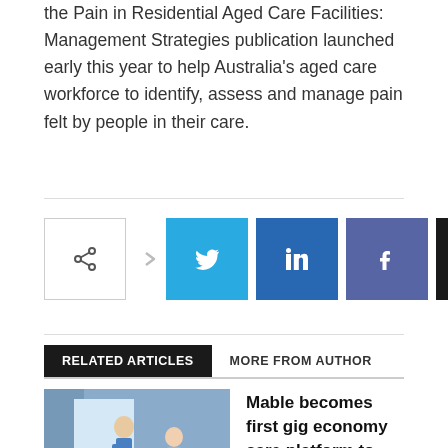the Pain in Residential Aged Care Facilities: Management Strategies publication launched early this year to help Australia's aged care workforce to identify, assess and manage pain felt by people in their care.
[Figure (infographic): Social sharing buttons: share icon, arrow, Twitter, LinkedIn, Facebook, Email, Print]
RELATED ARTICLES   MORE FROM AUTHOR
Mable becomes first gig economy care platform to enable super contributions